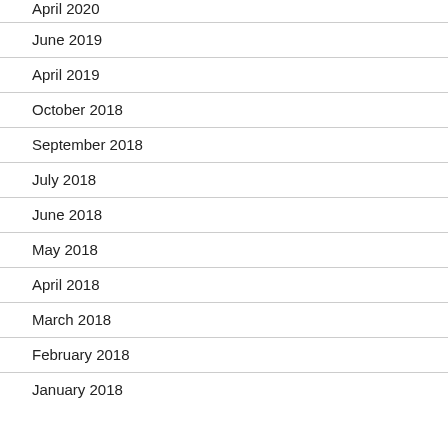April 2020
June 2019
April 2019
October 2018
September 2018
July 2018
June 2018
May 2018
April 2018
March 2018
February 2018
January 2018